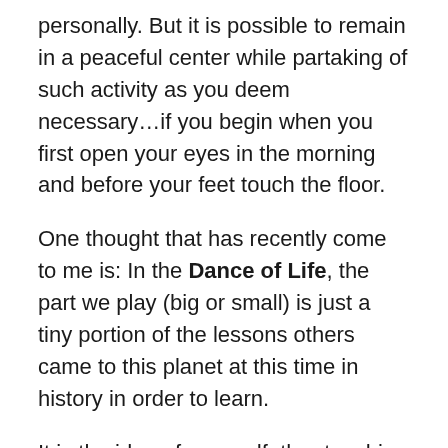personally. But it is possible to remain in a peaceful center while partaking of such activity as you deem necessary…if you begin when you first open your eyes in the morning and before your feet touch the floor.
One thought that has recently come to me is: In the Dance of Life, the part we play (big or small) is just a tiny portion of the lessons others came to this planet at this time in history in order to learn.
It is the idea of a grandfather teaching his grandchild about a butterfly which is struggling to get out of its cocoon. The child wants to aid it by helping to remove the cocoon. The grandfather stops her, saying, “If you do that, you are condemning it to a flightless existence. Only by its struggle to get out of its cocoon will the life force fill its wings so it can fly and be the beautiful thing it was meant